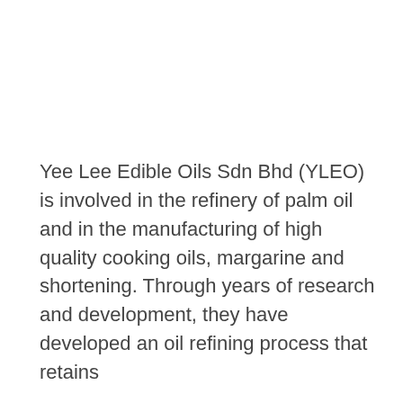Yee Lee Edible Oils Sdn Bhd (YLEO) is involved in the refinery of palm oil and in the manufacturing of high quality cooking oils, margarine and shortening. Through years of research and development, they have developed an oil refining process that retains